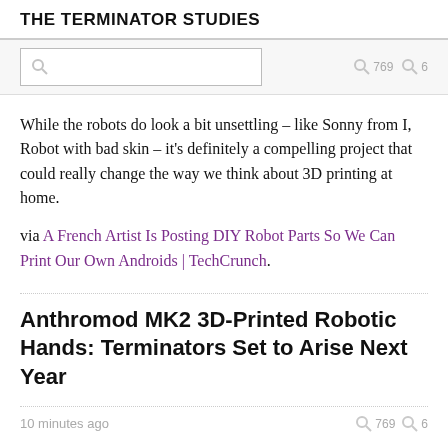THE TERMINATOR STUDIES
[Figure (screenshot): Search bar with magnifying glass icon on left, and two search icon groups with numbers 769 and 6 on the right]
While the robots do look a bit unsettling – like Sonny from I, Robot with bad skin – it's definitely a compelling project that could really change the way we think about 3D printing at home.
via A French Artist Is Posting DIY Robot Parts So We Can Print Our Own Androids | TechCrunch.
Anthromod MK2 3D-Printed Robotic Hands: Terminators Set to Arise Next Year
10 minutes ago